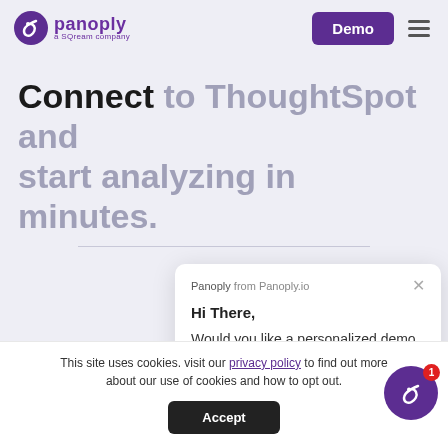Panoply — a SQream company | Demo
Connect to ThoughtSpot and start analyzing in minutes.
[Figure (screenshot): Chat popup from Panoply.io with message: Hi There, Would you like a personalized demo for your company?]
This site uses cookies. visit our privacy policy to find out more about our use of cookies and how to opt out.
[Figure (other): Accept button for cookie consent]